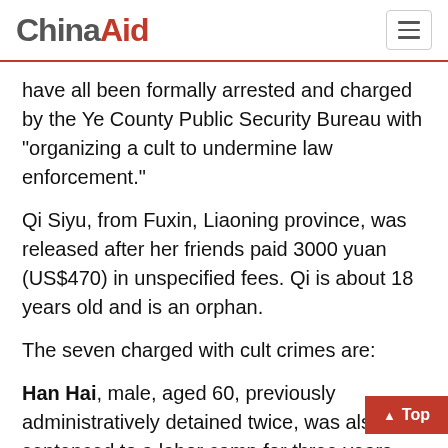ChinaAid
have all been formally arrested and charged by the Ye County Public Security Bureau with “organizing a cult to undermine law enforcement.”
Qi Siyu, from Fuxin, Liaoning province, was released after her friends paid 3000 yuan (US$470) in unspecified fees. Qi is about 18 years old and is an orphan.
The seven charged with cult crimes are:
Han Hai, male, aged 60, previously administratively detained twice, was also sentenced to a labor camp for three years. Now held in the Ye County Detention Center.